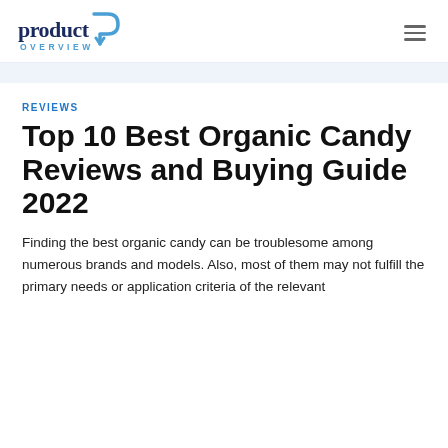product overview [logo]
REVIEWS
Top 10 Best Organic Candy Reviews and Buying Guide 2022
Finding the best organic candy can be troublesome among numerous brands and models. Also, most of them may not fulfill the primary needs or application criteria of the relevant